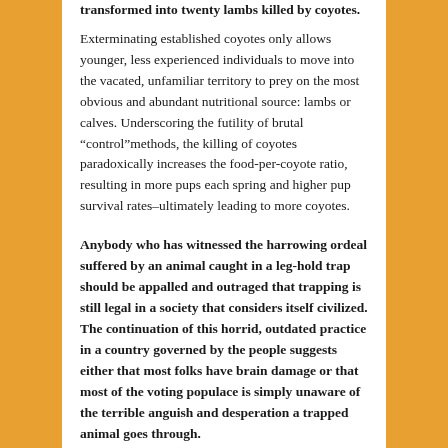transformed into twenty lambs killed by coyotes.
Exterminating established coyotes only allows younger, less experienced individuals to move into the vacated, unfamiliar territory to prey on the most obvious and abundant nutritional source: lambs or calves. Underscoring the futility of brutal “control”methods, the killing of coyotes paradoxically increases the food-per-coyote ratio, resulting in more pups each spring and higher pup survival rates–ultimately leading to more coyotes.
Anybody who has witnessed the harrowing ordeal suffered by an animal caught in a leg-hold trap should be appalled and outraged that trapping is still legal in a society that considers itself civilized. The continuation of this horrid, outdated practice in a country governed by the people suggests either that most folks have brain damage or that most of the voting populace is simply unaware of the terrible anguish and desperation a trapped animal goes through.